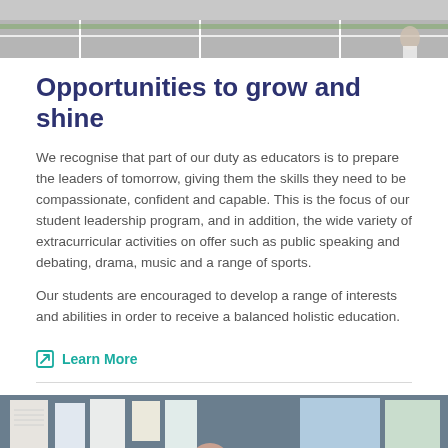[Figure (photo): Top portion of a photo showing what appears to be an outdoor sports area or playground, partially cropped]
Opportunities to grow and shine
We recognise that part of our duty as educators is to prepare the leaders of tomorrow, giving them the skills they need to be compassionate, confident and capable. This is the focus of our student leadership program, and in addition, the wide variety of extracurricular activities on offer such as public speaking and debating, drama, music and a range of sports.
Our students are encouraged to develop a range of interests and abilities in order to receive a balanced holistic education.
Learn More
[Figure (photo): Photo of a classroom scene with a teacher and students working together, colorful student work displayed on the walls in the background]